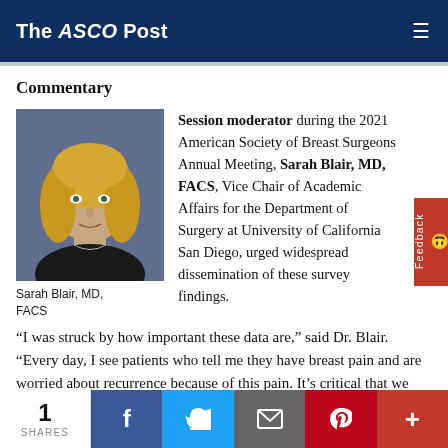The ASCO Post
Commentary
[Figure (photo): Headshot of Sarah Blair, MD, FACS — a woman with blonde hair]
Sarah Blair, MD, FACS
Session moderator during the 2021 American Society of Breast Surgeons Annual Meeting, Sarah Blair, MD, FACS, Vice Chair of Academic Affairs for the Department of Surgery at University of California San Diego, urged widespread dissemination of these survey findings.
“I was struck by how important these data are,” said Dr. Blair. “Every day, I see patients who tell me they have breast pain and are worried about recurrence because of this pain. It’s critical that we find a way to disseminate these data to our patients; this way, they will